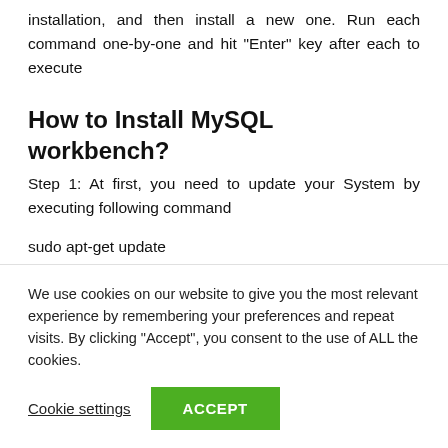installation, and then install a new one. Run each command one-by-one and hit “Enter” key after each to execute
How to Install MySQL workbench?
Step 1: At first, you need to update your System by executing following command
sudo apt-get update
sudo apt-get upgrade
Step 2: ...
We use cookies on our website to give you the most relevant experience by remembering your preferences and repeat visits. By clicking “Accept”, you consent to the use of ALL the cookies.
Cookie settings   ACCEPT